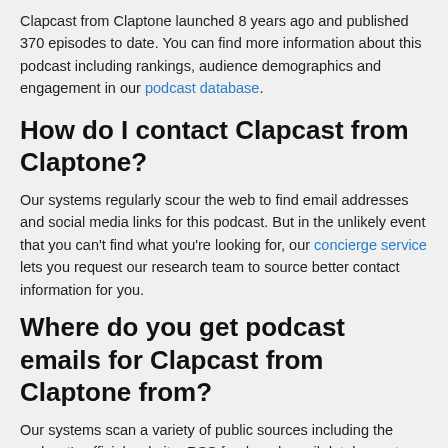Clapcast from Claptone launched 8 years ago and published 370 episodes to date. You can find more information about this podcast including rankings, audience demographics and engagement in our podcast database.
How do I contact Clapcast from Claptone?
Our systems regularly scour the web to find email addresses and social media links for this podcast. But in the unlikely event that you can't find what you're looking for, our concierge service lets you request our research team to source better contact information for you.
Where do you get podcast emails for Clapcast from Claptone from?
Our systems scan a variety of public sources including the podcast's official website, RSS feed, and email databases to provide you with a trustworthy source of podcast contact information. We also have